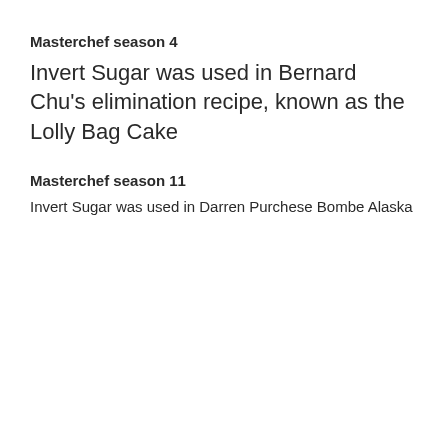Masterchef season 4
Invert Sugar was used in Bernard Chu's elimination recipe, known as the Lolly Bag Cake
Masterchef season 11
Invert Sugar was used in Darren Purchese Bombe Alaska